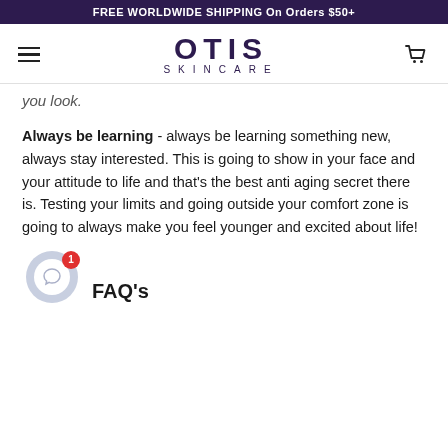FREE WORLDWIDE SHIPPING On Orders $50+
[Figure (logo): Otis Skincare logo with hamburger menu and cart icon]
you look.
Always be learning - always be learning something new, always stay interested. This is going to show in your face and your attitude to life and that's the best anti aging secret there is. Testing your limits and going outside your comfort zone is going to always make you feel younger and excited about life!
FAQ's